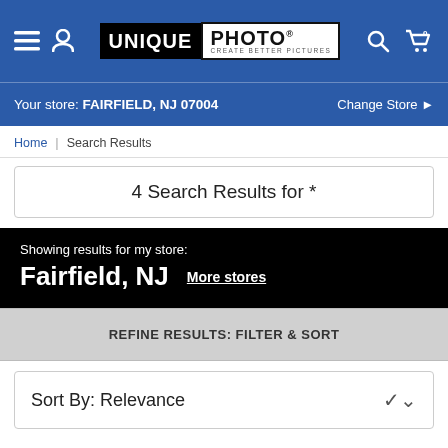[Figure (screenshot): Unique Photo website header with hamburger menu, user icon, Unique Photo logo, search icon, and cart icon on blue background]
Your store: FAIRFIELD, NJ 07004   Change Store ▶
Home  Search Results
4 Search Results for *
Showing results for my store: Fairfield, NJ  More stores
REFINE RESULTS: FILTER & SORT
Sort By: Relevance